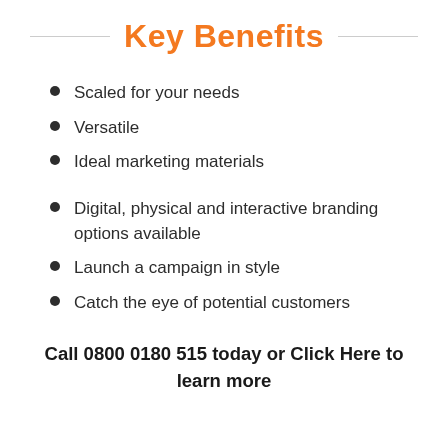Key Benefits
Scaled for your needs
Versatile
Ideal marketing materials
Digital, physical and interactive branding options available
Launch a campaign in style
Catch the eye of potential customers
Call 0800 0180 515 today or Click Here to learn more